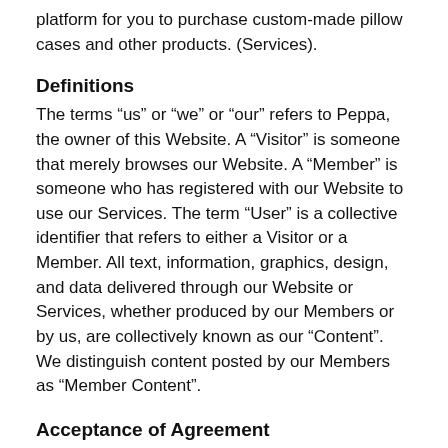platform for you to purchase custom-made pillow cases and other products. (Services).
Definitions
The terms “us” or “we” or “our” refers to Peppa, the owner of this Website. A “Visitor” is someone that merely browses our Website. A “Member” is someone who has registered with our Website to use our Services. The term “User” is a collective identifier that refers to either a Visitor or a Member. All text, information, graphics, design, and data delivered through our Website or Services, whether produced by our Members or by us, are collectively known as our “Content”. We distinguish content posted by our Members as “Member Content”.
Acceptance of Agreement
Except as otherwise noted, this Agreement constitutes the